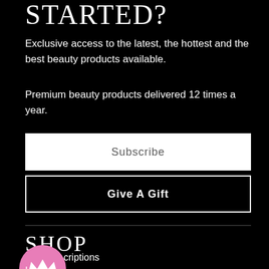STARTED?
Exclusive access to the latest, the hottest and the best beauty products available.
Premium beauty products delivered 12 times a year.
Subscribe
Give A Gift
SHOP
[Figure (illustration): Pink circle with a white crown icon]
criptions
Login